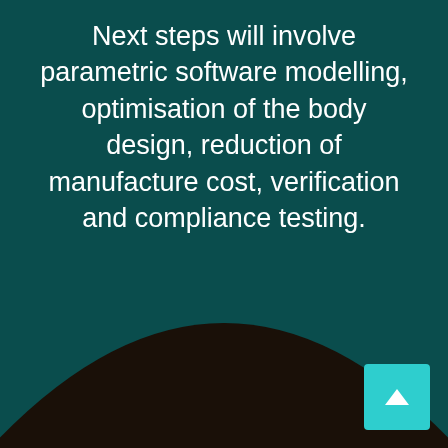Next steps will involve parametric software modelling, optimisation of the body design, reduction of manufacture cost, verification and compliance testing.
[Figure (illustration): Dark rounded hill/dome shape silhouette at the bottom of the page against a dark teal background, with a teal scroll-up button in the bottom right corner.]